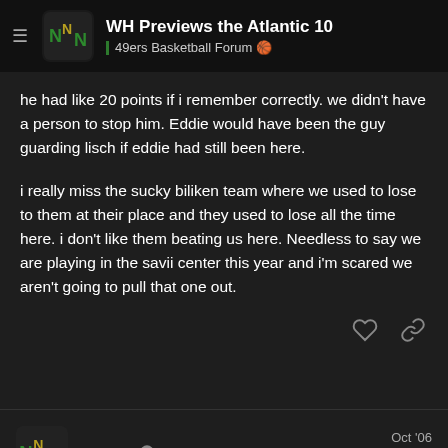WH Previews the Atlantic 10 | 49ers Basketball Forum
he had like 20 points if i remember correctly. we didn't have a person to stop him. Eddie would have been the guy guarding lisch if eddie had still been here.
i really miss the sucky biliken team where we used to lose to them at their place and they used to lose all the time here. i don't like them beating us here. Needless to say we are playing in the savii center this year and i'm scared we aren't going to pull that one out.
system Oct '06
10/111